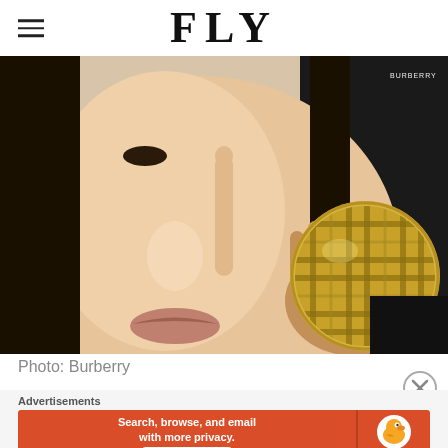FLY
[Figure (photo): Close-up of a woman holding a round gold Burberry compact with tartan pattern engraved on the lid, in front of her face]
Photo: Burberry
Advertisements
[Figure (other): DuckDuckGo advertisement banner: 'Search, browse, and email with more privacy. All in One Free App' with DuckDuckGo logo on orange background]